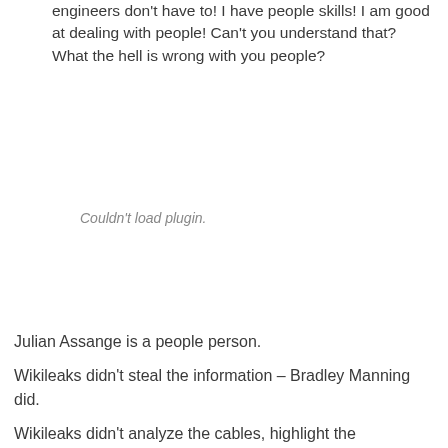engineers don't have to! I have people skills! I am good at dealing with people! Can't you understand that? What the hell is wrong with you people?
[Figure (other): Couldn't load plugin. placeholder area for an embedded media plugin]
Julian Assange is a people person.

Wikileaks didn't steal the information – Bradley Manning did.

Wikileaks didn't analyze the cables, highlight the meaningful